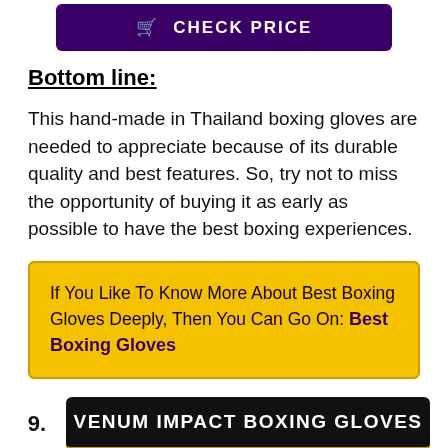[Figure (other): Purple button with shopping cart icon and text CHECK PRICE]
Bottom line:
This hand-made in Thailand boxing gloves are needed to appreciate because of its durable quality and best features. So, try not to miss the opportunity of buying it as early as possible to have the best boxing experiences.
If You Like To Know More About Best Boxing Gloves Deeply, Then You Can Go On: Best Boxing Gloves
9. VENUM IMPACT BOXING GLOVES